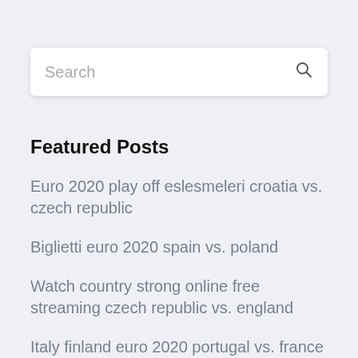[Figure (screenshot): Search input box with placeholder text 'Search' and a magnifying glass icon on the right]
Featured Posts
Euro 2020 play off eslesmeleri croatia vs. czech republic
Biglietti euro 2020 spain vs. poland
Watch country strong online free streaming czech republic vs. england
Italy finland euro 2020 portugal vs. france
Fan club membership number euro 2020 croatia sweden vs. slovakia